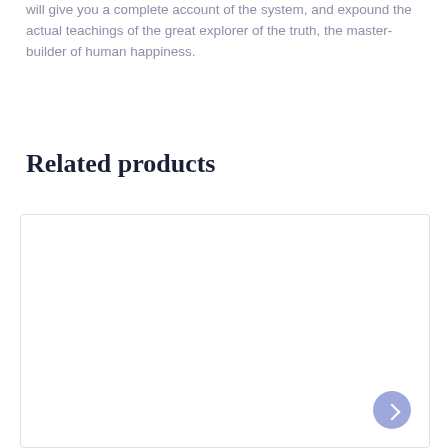will give you a complete account of the system, and expound the actual teachings of the great explorer of the truth, the master-builder of human happiness.
Related products
[Figure (other): Empty product card with border, white background, and a scroll/navigation button (purple circle with icon) in the bottom-right corner]